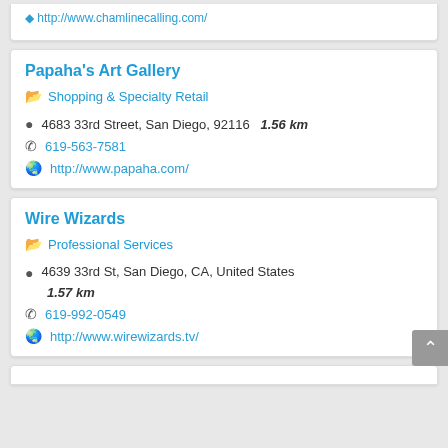http://www.chamlinecalling.com/...
Papaha's Art Gallery
Shopping & Specialty Retail
4683 33rd Street, San Diego, 92116  1.56 km
619-563-7581
http://www.papaha.com/
Wire Wizards
Professional Services
4639 33rd St, San Diego, CA, United States
1.57 km
619-992-0549
http://www.wirewizards.tv/